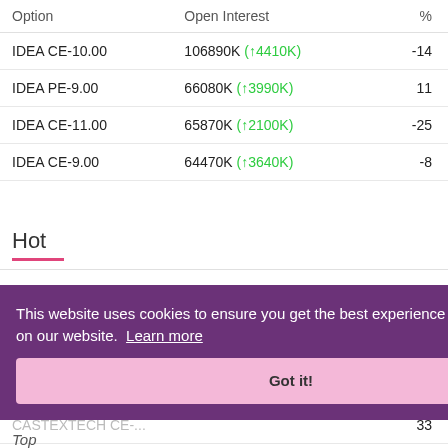| Option | Open Interest | % |
| --- | --- | --- |
| IDEA CE-10.00 | 106890K (↑4410K) | -14 |
| IDEA PE-9.00 | 66080K (↑3990K) | 11 |
| IDEA CE-11.00 | 65870K (↑2100K) | -25 |
| IDEA CE-9.00 | 64470K (↑3640K) | -8 |
Hot
| Option | Open Interest | % |
| --- | --- | --- |
| GMRINFRA CE-15.00 | 9375K (↑5985K) | 29 |
| ... | ... | 45 |
| CASTEXTECH CE-... | ... | 33 |
| IDEA PE-9.00 | 66080K (↑3990K) |  |
This website uses cookies to ensure you get the best experience on our website. Learn more
Top